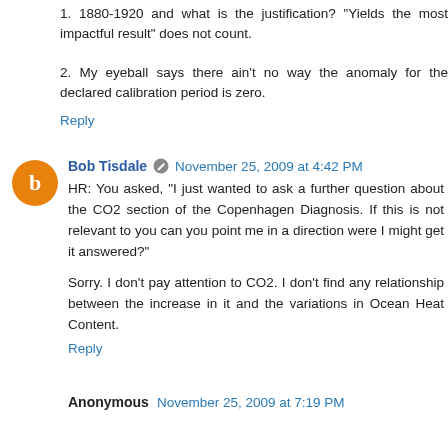1. 1880-1920 and what is the justification? "Yields the most impactful result" does not count.
2. My eyeball says there ain't no way the anomaly for the declared calibration period is zero.
Reply
Bob Tisdale  November 25, 2009 at 4:42 PM
HR: You asked, "I just wanted to ask a further question about the CO2 section of the Copenhagen Diagnosis. If this is not relevant to you can you point me in a direction were I might get it answered?"
Sorry. I don't pay attention to CO2. I don't find any relationship between the increase in it and the variations in Ocean Heat Content.
Reply
Anonymous  November 25, 2009 at 7:19 PM